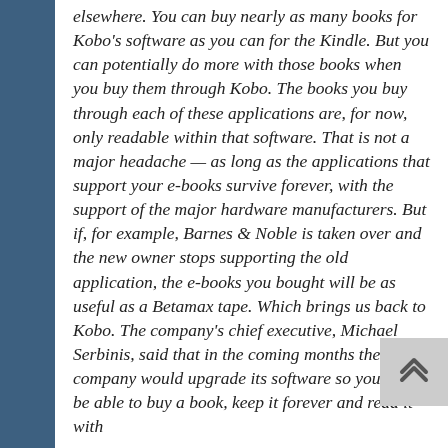elsewhere. You can buy nearly as many books for Kobo's software as you can for the Kindle. But you can potentially do more with those books when you buy them through Kobo. The books you buy through each of these applications are, for now, only readable within that software. That is not a major headache — as long as the applications that support your e-books survive forever, with the support of the major hardware manufacturers. But if, for example, Barnes & Noble is taken over and the new owner stops supporting the old application, the e-books you bought will be as useful as a Betamax tape. Which brings us back to Kobo. The company's chief executive, Michael Serbinis, said that in the coming months the company would upgrade its software so you will be able to buy a book, keep it forever and read it with